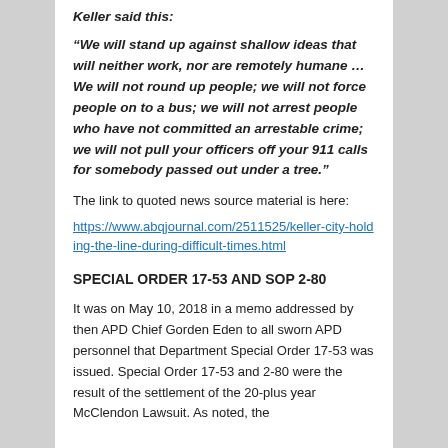Keller said this:
“We will stand up against shallow ideas that will neither work, nor are remotely humane … We will not round up people; we will not force people on to a bus; we will not arrest people who have not committed an arrestable crime; we will not pull your officers off your 911 calls for somebody passed out under a tree.”
The link to quoted news source material is here:
https://www.abqjournal.com/2511525/keller-city-holding-the-line-during-difficult-times.html
SPECIAL ORDER 17-53 AND SOP 2-80
It was on May 10, 2018 in a memo addressed by then APD Chief Gorden Eden to all sworn APD personnel that Department Special Order 17-53 was issued. Special Order 17-53 and 2-80 were the result of the settlement of the 20-plus year McClendon Lawsuit. As noted, the